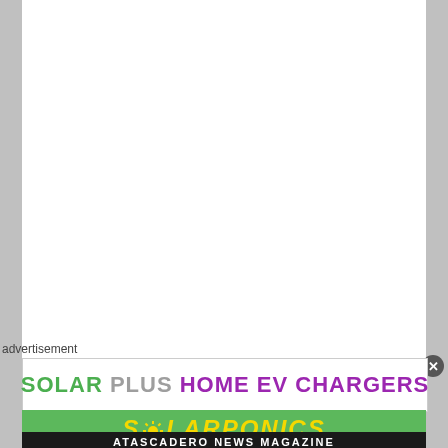[Figure (other): Large white blank content area at top of page]
advertisement
[Figure (infographic): Advertisement banner: SOLAR PLUS HOME EV CHARGERS with close button]
[Figure (logo): Solarponics logo on green background with sun icon and yellow italic text]
ATASCADERO NEWS MAGAZINE